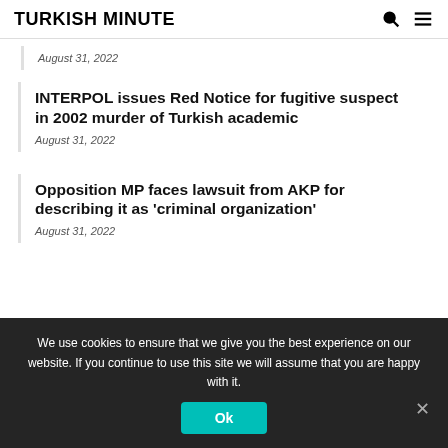TURKISH MINUTE
August 31, 2022
INTERPOL issues Red Notice for fugitive suspect in 2002 murder of Turkish academic
August 31, 2022
Opposition MP faces lawsuit from AKP for describing it as 'criminal organization'
August 31, 2022
We use cookies to ensure that we give you the best experience on our website. If you continue to use this site we will assume that you are happy with it.